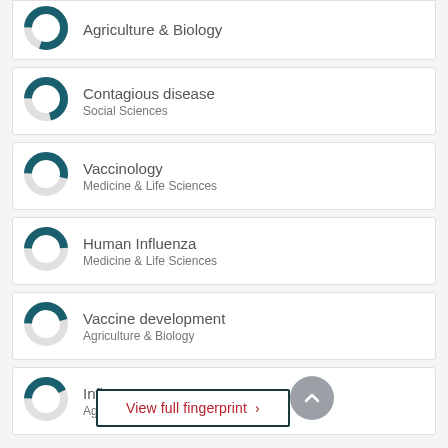Agriculture & Biology (partial, top)
Contagious disease — Social Sciences
Vaccinology — Medicine & Life Sciences
Human Influenza — Medicine & Life Sciences
Vaccine development — Agriculture & Biology
Influenza — Agriculture & Biology
View full fingerprint >